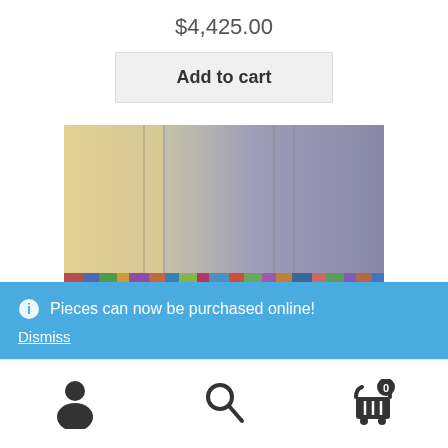$4,425.00
Add to cart
[Figure (photo): Product photo showing large wall panels or canvases — warm yellow-lit left side transitioning to grey-blue right side, with colorful mosaic-like detail visible along the bottom edge.]
Pieces can now be purchased online!
Dismiss